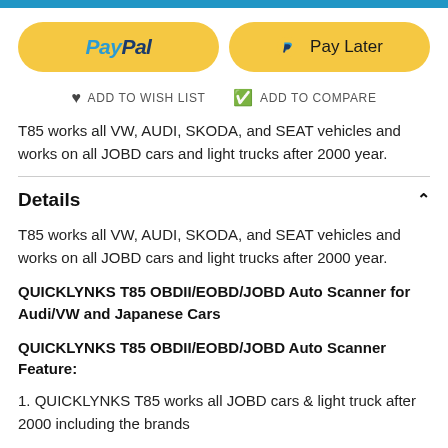[Figure (screenshot): Blue progress bar at top of page]
[Figure (screenshot): PayPal and Pay Later yellow buttons]
ADD TO WISH LIST   ADD TO COMPARE
T85 works all VW, AUDI, SKODA, and SEAT vehicles and works on all JOBD cars and light trucks after 2000 year.
Details
T85 works all VW, AUDI, SKODA, and SEAT vehicles and works on all JOBD cars and light trucks after 2000 year.
QUICKLYNKS T85 OBDII/EOBD/JOBD Auto Scanner for Audi/VW and Japanese Cars
QUICKLYNKS T85 OBDII/EOBD/JOBD Auto Scanner Feature:
1. QUICKLYNKS T85 works all JOBD cars & light truck after 2000 including the brands